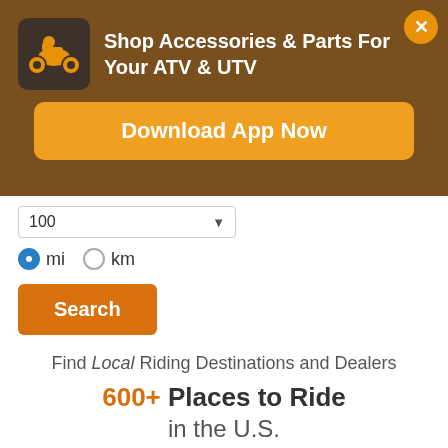[Figure (screenshot): Brown banner with ATV icon and text 'Shop Accessories & Parts For Your ATV & UTV', an orange close button (X), and an orange 'Download App Now' button]
100 (dropdown) mi (selected) km
Search
Find Local Riding Destinations and Dealers
600+ Places to Ride
in the U.S.